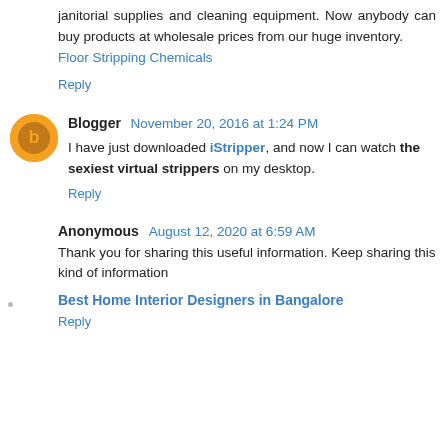janitorial supplies and cleaning equipment. Now anybody can buy products at wholesale prices from our huge inventory.
Floor Stripping Chemicals
Reply
Blogger  November 20, 2016 at 1:24 PM
I have just downloaded iStripper, and now I can watch the sexiest virtual strippers on my desktop.
Reply
Anonymous  August 12, 2020 at 6:59 AM
Thank you for sharing this useful information. Keep sharing this kind of information
Best Home Interior Designers in Bangalore
Reply